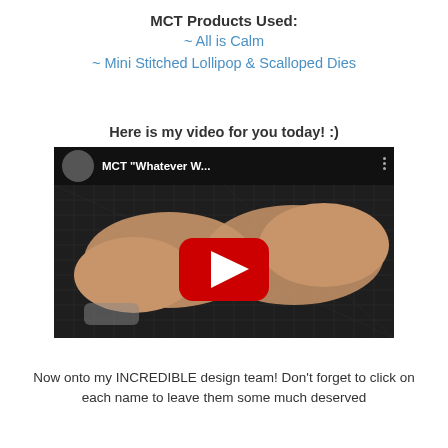MCT Products Used:
~ All is Calm
~ Mini Stitched Lollipop & Scalloped Dies
Here is my video for you today! :)
[Figure (screenshot): YouTube video thumbnail showing MCT 'Whatever W...' title with two hands working on a cutting mat, with a YouTube play button overlay]
Now onto my INCREDIBLE design team!  Don't forget to click on each name to leave them some much deserved